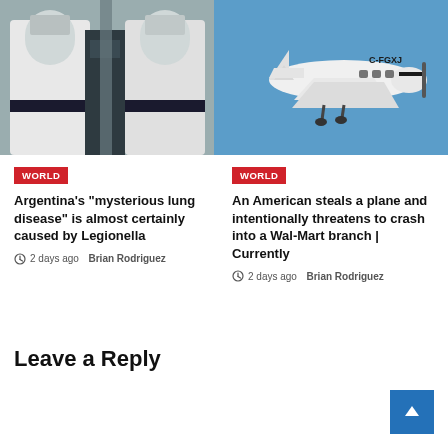[Figure (photo): Two people in white protective hazmat suits working in a laboratory environment]
[Figure (photo): Small white propeller plane with registration C-FGXJ flying against a blue sky]
WORLD
Argentina’s “mysterious lung disease” is almost certainly caused by Legionella
2 days ago  Brian Rodriguez
WORLD
An American steals a plane and intentionally threatens to crash into a Wal-Mart branch | Currently
2 days ago  Brian Rodriguez
Leave a Reply